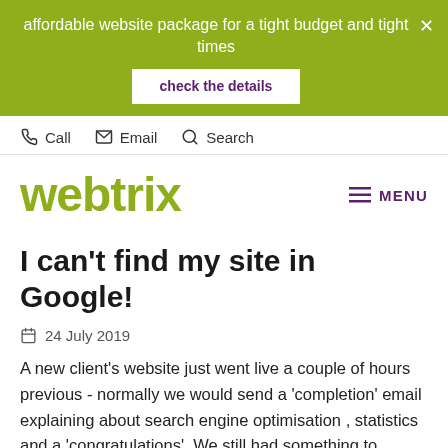affordable website package for a tight budget and tight times
check the details
Call  Email  Search
webtrix
I can't find my site in Google!
24 July 2019
A new client's website just went live a couple of hours previous  - normally we would send a 'completion' email explaining about search engine optimisation , statistics and a 'congratulations'. We still had something to complete on this